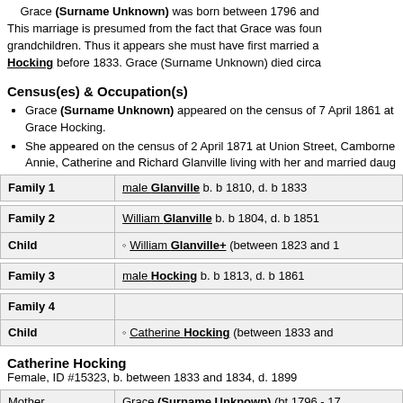Grace (Surname Unknown) was born between 1796 and... This marriage is presumed from the fact that Grace was found... grandchildren. Thus it appears she must have first married a... Hocking before 1833. Grace (Surname Unknown) died circa
Census(es) & Occupation(s)
Grace (Surname Unknown) appeared on the census of 7 April 1861 at... Grace Hocking.
She appeared on the census of 2 April 1871 at Union Street, Camborne... Annie, Catherine and Richard Glanville living with her and married daug
| Family 1 | male Glanville b. b 1810, d. b 1833 |
| --- | --- |
| Family 2 | William Glanville b. b 1804, d. b 1851 |
| --- | --- |
| Child | William Glanville+ (between 1823 and ... |
| Family 3 | male Hocking b. b 1813, d. b 1861 |
| --- | --- |
| Family 4 |  |
| --- | --- |
| Child | Catherine Hocking (between 1833 and ... |
Catherine Hocking
Female, ID #15323, b. between 1833 and 1834, d. 1899
| Mother | Grace (Surname Unknown) (bt 1796 - 17... |
| --- | --- |